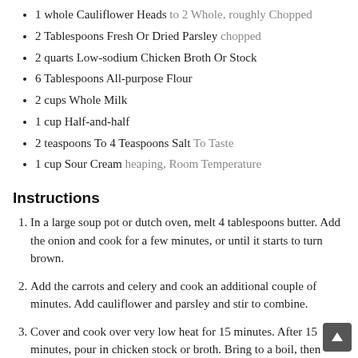1 whole Cauliflower Heads to 2 Whole, roughly Chopped
2 Tablespoons Fresh Or Dried Parsley chopped
2 quarts Low-sodium Chicken Broth Or Stock
6 Tablespoons All-purpose Flour
2 cups Whole Milk
1 cup Half-and-half
2 teaspoons To 4 Teaspoons Salt To Taste
1 cup Sour Cream heaping, Room Temperature
Instructions
In a large soup pot or dutch oven, melt 4 tablespoons butter. Add the onion and cook for a few minutes, or until it starts to turn brown.
Add the carrots and celery and cook an additional couple of minutes. Add cauliflower and parsley and stir to combine.
Cover and cook over very low heat for 15 minutes. After 15 minutes, pour in chicken stock or broth. Bring to a boil, then reduce heat and allow to simmer.
In a medium saucepan, melt 4 tablespoons butter. Mix the flour with the milk and whisk to combine. Add flour-milk mixture slowly to the butter, whisking constantly.
Remove from heat and stir in 1 cup half-and-half. Add mixture to the simmering soup. Allow to simmer for 15 to 20 minutes.